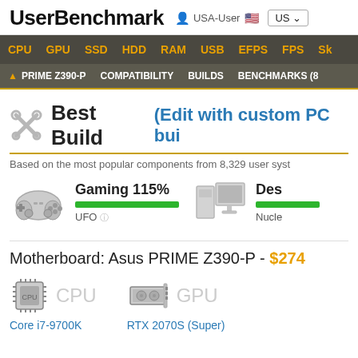UserBenchmark — USA-User — US
CPU  GPU  SSD  HDD  RAM  USB  EFPS  FPS  Sk
▲ PRIME Z390-P  COMPATIBILITY  BUILDS  BENCHMARKS (8
Best Build (Edit with custom PC bui
Based on the most popular components from 8,329 user syst
[Figure (infographic): Gaming controller icon with Gaming 115% label and green progress bar, UFO rating. Desktop PC icon with Des... label, green progress bar, Nucle...]
Motherboard: Asus PRIME Z390-P - $274
[Figure (infographic): CPU chip icon with label 'CPU' and link 'Core i7-9700K'. GPU card icon with label 'GPU' and link 'RTX 2070S (Super)']